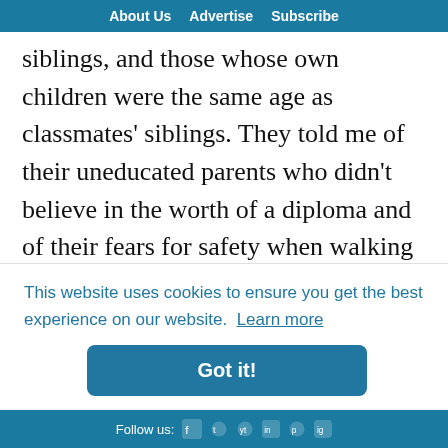About Us   Advertise   Subscribe
siblings, and those whose own children were the same age as classmates' siblings. They told me of their uneducated parents who didn't believe in the worth of a diploma and of their fears for safety when walking home from work in the middle of the night. Although many of their stories were of situations that broke my heart, I enjoyed learning about the students and gaining insight into their
This website uses cookies to ensure you get the best experience on our website.  Learn more
Got it!
Follow us: